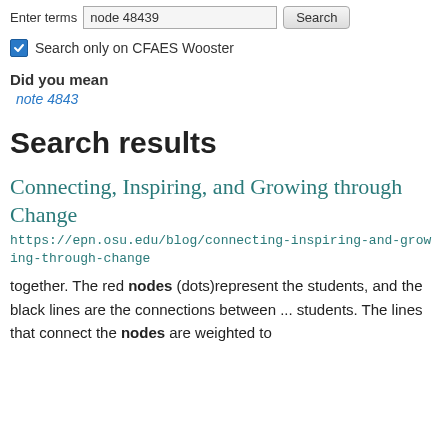Enter terms  node 48439  Search
Search only on CFAES Wooster
Did you mean
note 4843
Search results
Connecting, Inspiring, and Growing through Change
https://epn.osu.edu/blog/connecting-inspiring-and-growing-through-change
together. The red nodes (dots)represent the students, and the black lines are the connections between ... students. The lines that connect the nodes are weighted to